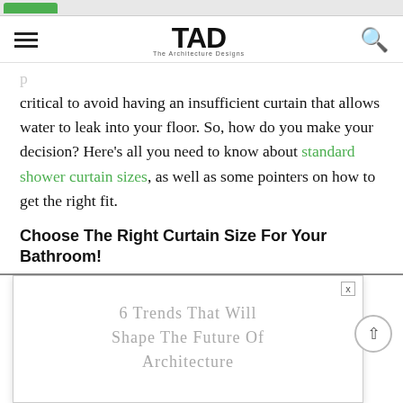TAD — The Architecture Designs (navigation bar with hamburger menu and search icon)
critical to avoid having an insufficient curtain that allows water to leak into your floor. So, how do you make your decision? Here's all you need to know about standard shower curtain sizes, as well as some pointers on how to get the right fit.
Choose The Right Curtain Size For Your Bathroom!
[Figure (screenshot): Advertisement overlay showing text: 6 Trends That Will Shape The Future Of Architecture, with a close button (x) in top right corner.]